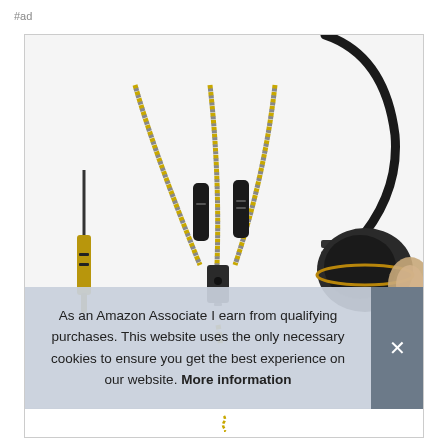#ad
[Figure (photo): Product photo of in-ear wired earphones with braided cable, 3.5mm gold-plated angled jack, inline microphone/control modules, and ear tips visible on a white background.]
As an Amazon Associate I earn from qualifying purchases. This website uses the only necessary cookies to ensure you get the best experience on our website. More information